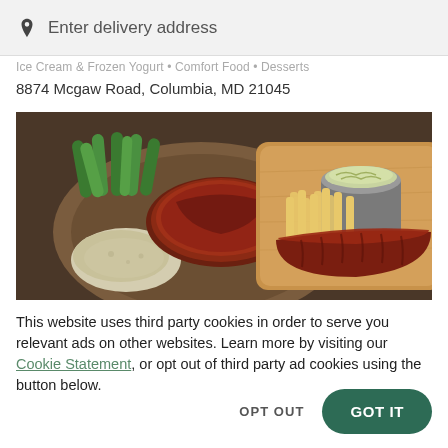Enter delivery address
Ice Cream & Frozen Yogurt • Comfort Food • Desserts
8874 Mcgaw Road, Columbia, MD 21045
[Figure (photo): Food photo showing a plate with ribs, green beans, and mashed potatoes on the left, and a wooden board with ribs, french fries, and coleslaw on the right.]
This website uses third party cookies in order to serve you relevant ads on other websites. Learn more by visiting our Cookie Statement, or opt out of third party ad cookies using the button below.